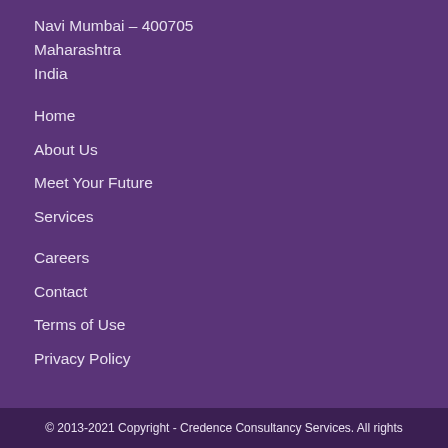Navi Mumbai – 400705
Maharashtra
India
Home
About Us
Meet Your Future
Services
Careers
Contact
Terms of Use
Privacy Policy
© 2013-2021 Copyright - Credence Consultancy Services. All rights